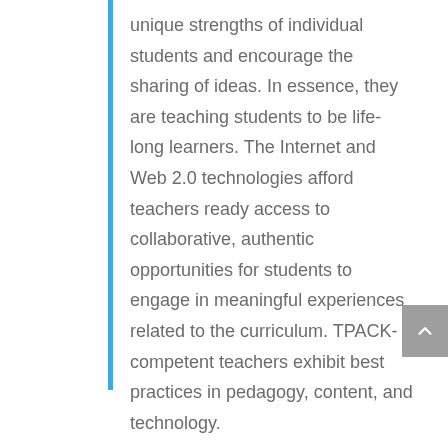unique strengths of individual students and encourage the sharing of ideas. In essence, they are teaching students to be life-long learners. The Internet and Web 2.0 technologies afford teachers ready access to collaborative, authentic opportunities for students to engage in meaningful experiences related to the curriculum. TPACK-competent teachers exhibit best practices in pedagogy, content, and technology.